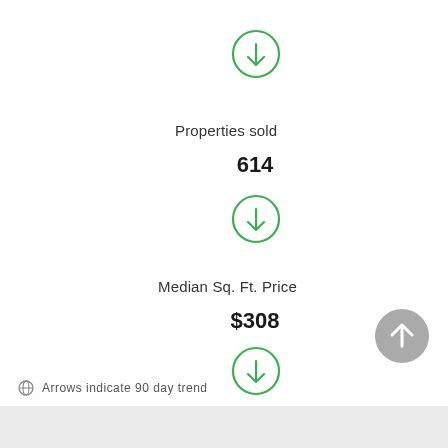[Figure (illustration): Green circle with downward arrow icon, top]
Properties sold
614
[Figure (illustration): Green circle with downward arrow icon, middle]
Median Sq. Ft. Price
$308
[Figure (illustration): Green circle with downward arrow icon, bottom]
[Figure (illustration): Gray circle with upward arrow icon, scroll to top button]
Arrows indicate 90 day trend